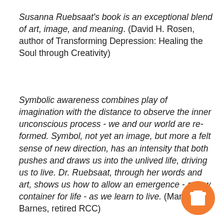Susanna Ruebsaat's book is an exceptional blend of art, image, and meaning. (David H. Rosen, author of Transforming Depression: Healing the Soul through Creativity)
Symbolic awareness combines play of imagination with the distance to observe the inner unconscious process - we and our world are re-formed. Symbol, not yet an image, but more a felt sense of new direction, has an intensity that both pushes and draws us into the unlived life, driving us to live. Dr. Ruebsaat, through her words and art, shows us how to allow an emergence - a new container for life - as we learn to live. (Mary Barnes, retired RCC)
[Figure (illustration): Orange circular button with a white takeaway coffee cup icon]